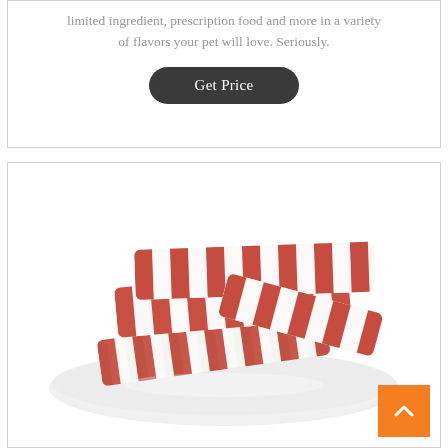limited ingredient, prescription food and more in a variety of flavors your pet will love. Seriously.
Get Price
[Figure (photo): A stack of meat-based pet treats with red and white striped pattern, arranged on a white plate against a white background.]